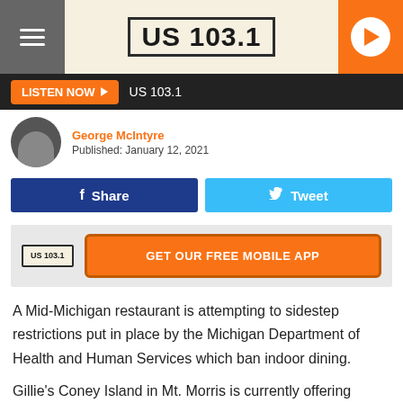US 103.1
LISTEN NOW   US 103.1
George McIntyre
Published: January 12, 2021
Share   Tweet
GET OUR FREE MOBILE APP
A Mid-Michigan restaurant is attempting to sidestep restrictions put in place by the Michigan Department of Health and Human Services which ban indoor dining.
Gillie's Coney Island in Mt. Morris is currently offering patrons the opportunity to dine indoors, one family at a time.